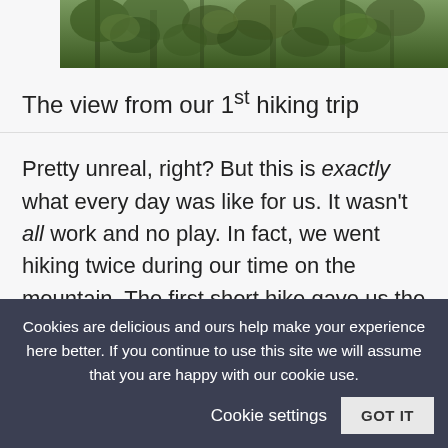[Figure (photo): Partial view of a mountain forest/tree tops photo, cropped at top of page]
The view from our 1st hiking trip
Pretty unreal, right? But this is exactly what every day was like for us. It wasn't all work and no play. In fact, we went hiking twice during our time on the mountain. The first short hike gave us the beautiful view in the
Cookies are delicious and ours help make your experience here better. If you continue to use this site we will assume that you are happy with our cookie use.  Cookie settings  GOT IT